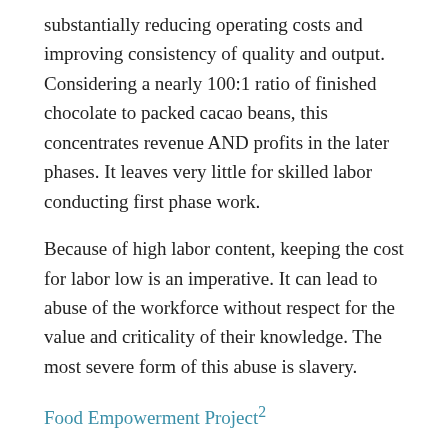substantially reducing operating costs and improving consistency of quality and output. Considering a nearly 100:1 ratio of finished chocolate to packed cacao beans, this concentrates revenue AND profits in the later phases. It leaves very little for skilled labor conducting first phase work.
Because of high labor content, keeping the cost for labor low is an imperative. It can lead to abuse of the workforce without respect for the value and criticality of their knowledge. The most severe form of this abuse is slavery.
Food Empowerment Project²
There are 940,000 Google hits on slave labor chocolate industry. Slave prices are a problem here. Still, it...